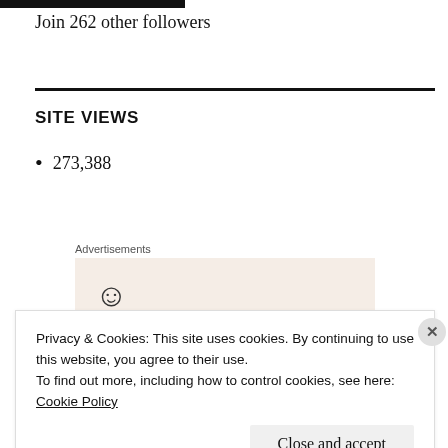Join 262 other followers
SITE VIEWS
273,388
Advertisements
Privacy & Cookies: This site uses cookies. By continuing to use this website, you agree to their use.
To find out more, including how to control cookies, see here:
Cookie Policy
Close and accept